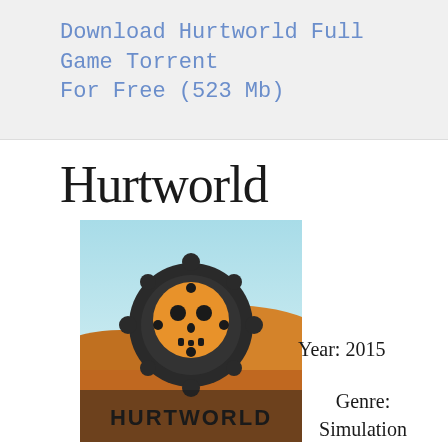Download Hurtworld Full Game Torrent For Free (523 Mb)
Hurtworld
[Figure (illustration): Hurtworld game cover art showing a skull-within-tire logo over a desert landscape with the word HURTWORLD at the bottom]
Year: 2015
Genre: Simulation